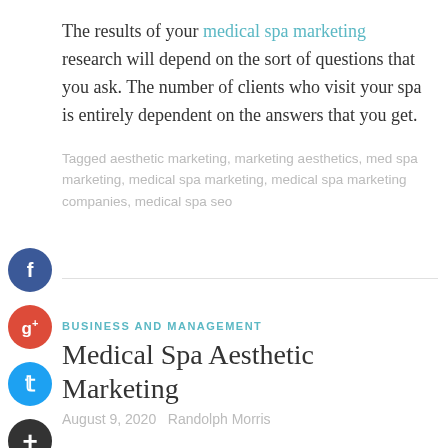The results of your medical spa marketing research will depend on the sort of questions that you ask. The number of clients who visit your spa is entirely dependent on the answers that you get.
Tagged aesthetic marketing, marketing aesthetics, med spa marketing, medical spa marketing, medical spa marketing companies, medical spa seo
BUSINESS AND MANAGEMENT
Medical Spa Aesthetic Marketing
August 9, 2020   Randolph Morris
Aesthetic marketing can include many marketing strategies. Aesthetic marketing and advertising techniques to provide